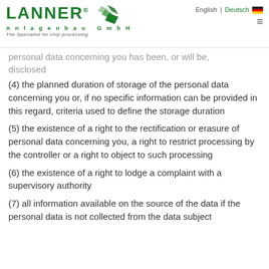LANNER Anlagenbau GmbH — The Specialist for chip processing | English | Deutsch
personal data concerning you has been, or will be, disclosed
(4) the planned duration of storage of the personal data concerning you or, if no specific information can be provided in this regard, criteria used to define the storage duration
(5) the existence of a right to the rectification or erasure of personal data concerning you, a right to restrict processing by the controller or a right to object to such processing
(6) the existence of a right to lodge a complaint with a supervisory authority
(7) all information available on the source of the data if the personal data is not collected from the data subject